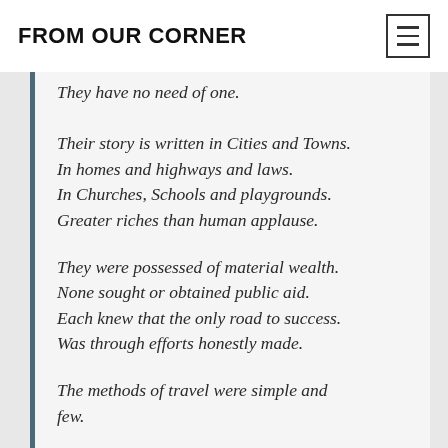FROM OUR CORNER
They have no need of one.

Their story is written in Cities and Towns.
In homes and highways and laws.
In Churches, Schools and playgrounds.
Greater riches than human applause.

They were possessed of material wealth.
None sought or obtained public aid.
Each knew that the only road to success.
Was through efforts honestly made.

The methods of travel were simple and few.